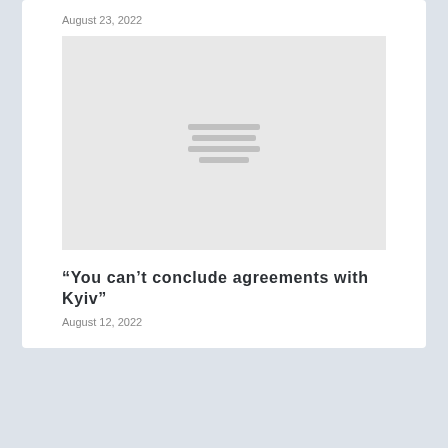August 23, 2022
[Figure (photo): Gray placeholder image with loading indicator lines in the center]
“You can’t conclude agreements with Kyiv”
August 12, 2022